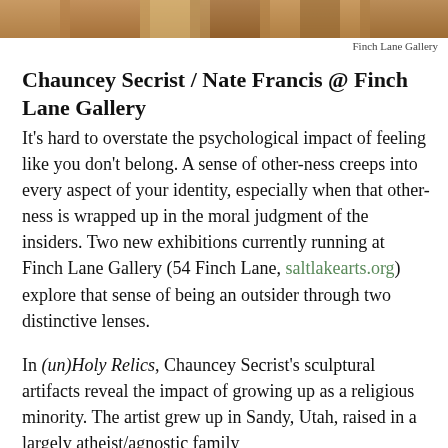[Figure (photo): Cropped photo strip showing the bottom portion of an artwork or object, brownish tones, partially visible at the top of the page]
Finch Lane Gallery
Chauncey Secrist / Nate Francis @ Finch Lane Gallery
It's hard to overstate the psychological impact of feeling like you don't belong. A sense of other-ness creeps into every aspect of your identity, especially when that other-ness is wrapped up in the moral judgment of the insiders. Two new exhibitions currently running at Finch Lane Gallery (54 Finch Lane, saltlakearts.org) explore that sense of being an outsider through two distinctive lenses.
In (un)Holy Relics, Chauncey Secrist's sculptural artifacts reveal the impact of growing up as a religious minority. The artist grew up in Sandy, Utah, raised in a largely atheist/agnostic family